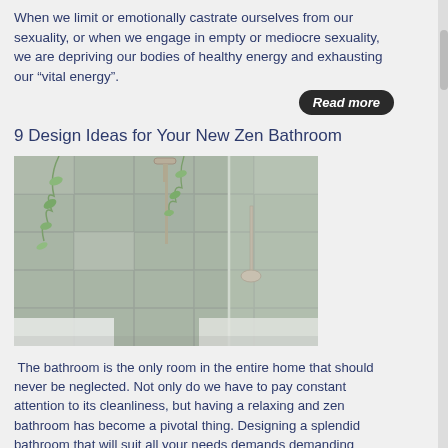When we limit or emotionally castrate ourselves from our sexuality, or when we engage in empty or mediocre sexuality, we are depriving our bodies of healthy energy and exhausting our “vital energy”.
Read more
9 Design Ideas for Your New Zen Bathroom
[Figure (photo): Photo of a modern zen bathroom shower with marble/stone tile walls, a rain shower head, handheld shower fixture, and hanging green plants/vines.]
The bathroom is the only room in the entire home that should never be neglected. Not only do we have to pay constant attention to its cleanliness, but having a relaxing and zen bathroom has become a pivotal thing. Designing a splendid bathroom that will suit all your needs demands demanding planning and many other crucial consideration to make something first-rate. Whether